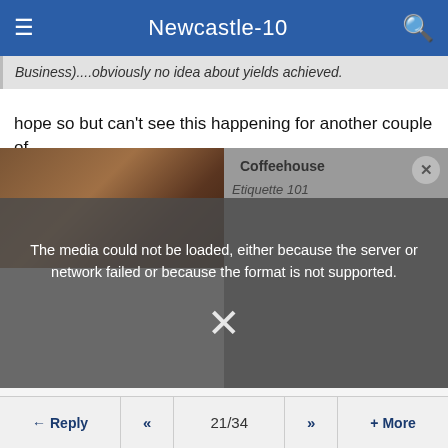Newcastle-10
Business)....obviously no idea about yields achieved.
hope so but can't see this happening for another couple of
[Figure (screenshot): Media player area showing a thumbnail of someone at a desk with coffee mug on left, and gray area on right with 'Coffeehouse' and 'Etiquette 101' text overlay. An error message overlay reads: 'The media could not be loaded, either because the server or network failed or because the format is not supported.' with an X dismiss button.]
Reply  <<  21/34  >>  + More